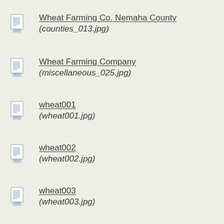Wheat Farming Co. Nemaha County (counties_013.jpg)
Wheat Farming Company (miscellaneous_025.jpg)
wheat001 (wheat001.jpg)
wheat002 (wheat002.jpg)
wheat003 (wheat003.jpg)